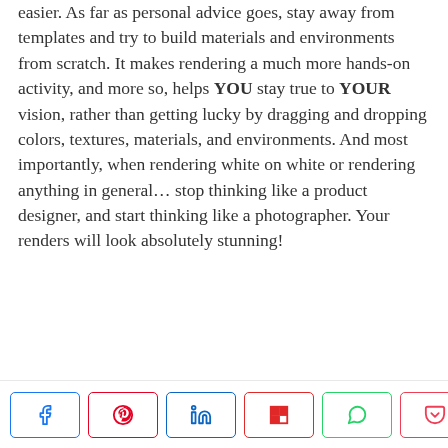easier. As far as personal advice goes, stay away from templates and try to build materials and environments from scratch. It makes rendering a much more hands-on activity, and more so, helps YOU stay true to YOUR vision, rather than getting lucky by dragging and dropping colors, textures, materials, and environments. And most importantly, when rendering white on white or rendering anything in general… stop thinking like a product designer, and start thinking like a photographer. Your renders will look absolutely stunning!
[Figure (other): Social share bar with Facebook, Pinterest, LinkedIn, Flipboard, WhatsApp, and Pocket buttons, plus a share count of 7.6K SHARES]